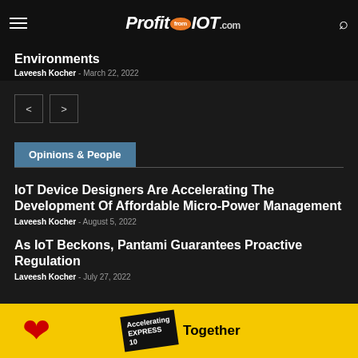Profit from IOT .com
Environments
Laveesh Kocher - March 22, 2022
Opinions & People
IoT Device Designers Are Accelerating The Development Of Affordable Micro-Power Management
Laveesh Kocher - August 5, 2022
As IoT Beckons, Pantami Guarantees Proactive Regulation
Laveesh Kocher - July 27, 2022
[Figure (infographic): Advertisement banner with yellow background, red heart, Express delivery branding, and 'Together' text]